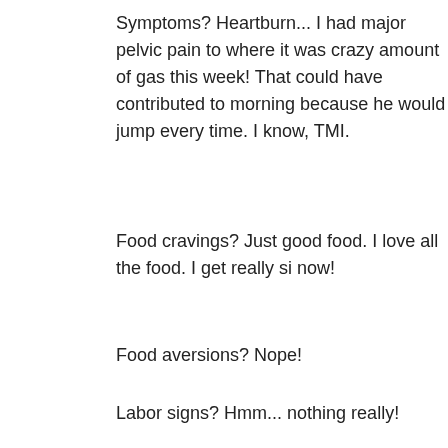Symptoms? Heartburn... I had major pelvic pain to where it was crazy amount of gas this week! That could have contributed to morning because he would jump every time. I know, TMI.
Food cravings? Just good food. I love all the food. I get really si now!
Food aversions? Nope!
Labor signs? Hmm... nothing really!
Belly button in or out? I don't know anymore. It's both. haha.
What I miss? Moving quickly!
What I'm looking forward to? Next week we have our 32 week gets too big to see!